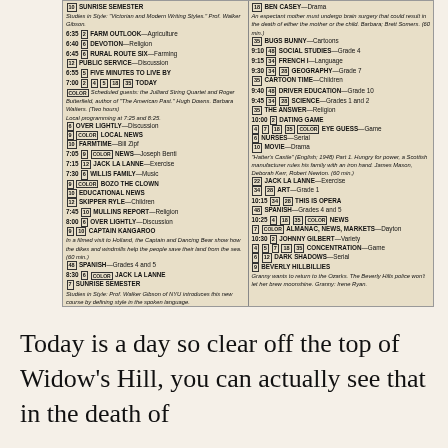[Figure (other): TV schedule listing for morning hours, two-column layout showing channel numbers, program names, and descriptions]
Today is a day so clear off the top of Widow's Hill, you can actually see that in the death of